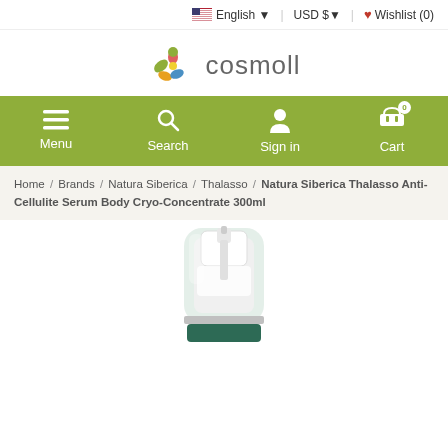English  USD $  Wishlist (0)
[Figure (logo): Cosmoll logo with colorful flower/people icon and text 'cosmoll']
Menu  Search  Sign in  Cart
Home / Brands / Natura Siberica / Thalasso / Natura Siberica Thalasso Anti-Cellulite Serum Body Cryo-Concentrate 300ml
[Figure (photo): Product bottle top - Natura Siberica Thalasso Anti-Cellulite Serum Body Cryo-Concentrate 300ml, showing the pump dispenser cap area against white background]